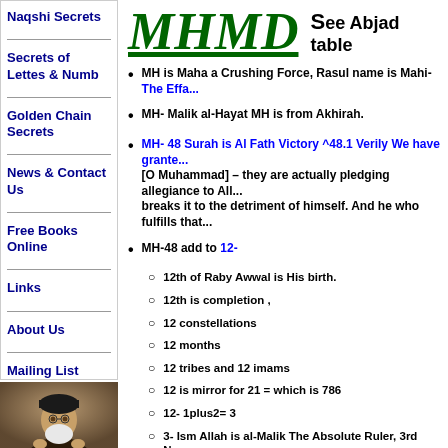Naqshi Secrets
Secrets of Lettes & Numb
Golden Chain Secrets
News & Contact Us
Free Books Online
Links
About Us
Mailing List
[Figure (photo): Photo of a bearded man wearing a black turban]
MHMD  See Abjad table
MH is Maha a Crushing Force, Rasul name is Mahi- The Effa...
MH- Malik al-Hayat MH is from Akhirah.
MH- 48 Surah is Al Fath Victory ^48.1 Verily We have granted... [O Muhammad] – they are actually pledging allegiance to All... breaks it to the detriment of himself. And he who fulfills that...
MH-48 add to 12-
12th of Raby Awwal is His birth.
12th is completion ,
12 constellations
12 months
12 tribes and 12 imams
12 is mirror for 21 = which is 786
12- 1plus2= 3
3- Ism Allah is al-Malik The Absolute Ruler, 3rd Na...